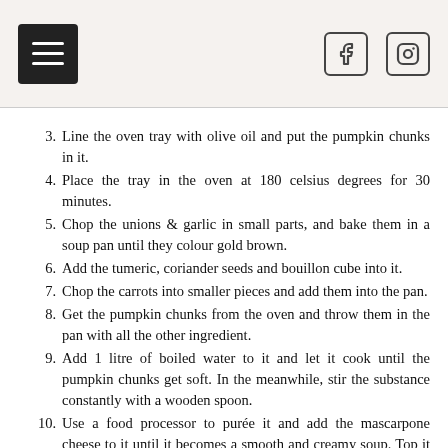Menu and social icons header
3. Line the oven tray with olive oil and put the pumpkin chunks in it.
4. Place the tray in the oven at 180 celsius degrees for 30 minutes.
5. Chop the unions & garlic in small parts, and bake them in a soup pan until they colour gold brown.
6. Add the tumeric, coriander seeds and bouillon cube into it.
7. Chop the carrots into smaller pieces and add them into the pan.
8. Get the pumpkin chunks from the oven and throw them in the pan with all the other ingredient.
9. Add 1 litre of boiled water to it and let it cook until the pumpkin chunks get soft. In the meanwhile, stir the substance constantly with a wooden spoon.
10. Use a food processor to purée it and add the mascarpone cheese to it until it becomes a smooth and creamy soup. Top it off with basil leaves.. and voilá, your pumpkin soup is ready to eat.